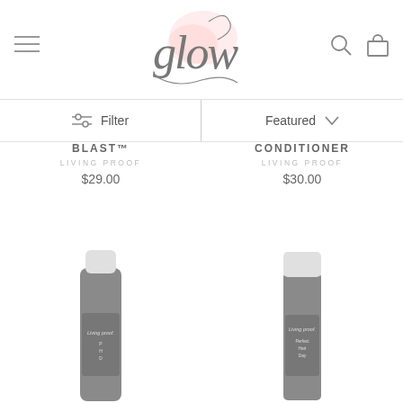[Figure (logo): Glow script logo with pink watercolor background and decorative swash lettering]
Filter
Featured
BLAST™
LIVING PROOF
$29.00
CONDITIONER
LIVING PROOF
$30.00
[Figure (photo): Living Proof haircare product bottle in grey, aerosol style, with white cap]
[Figure (photo): Living Proof Perfect Hair Day product in grey cylindrical container with white cap]